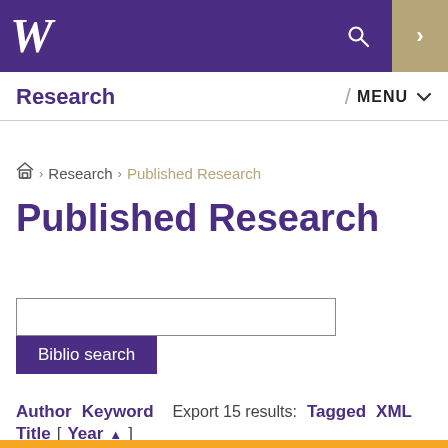W [UW logo] / Search / Navigation
Research / MENU
Research › Published Research
Published Research
Biblio search
Author Keyword Title [Year▲]  Export 15 results: Tagged XML